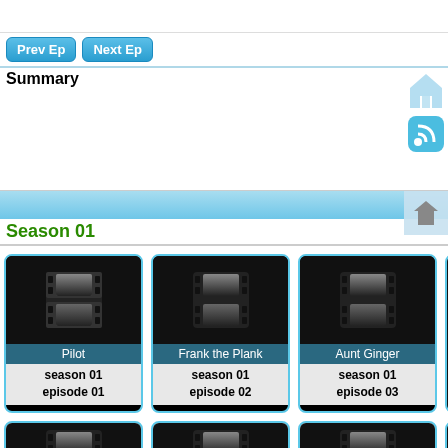[Figure (screenshot): Navigation buttons: Prev Ep and Next Ep (blue rounded buttons)]
Summary
Season 01
[Figure (screenshot): Episode card: Pilot, season 01 episode 01 with film reel icon]
[Figure (screenshot): Episode card: Frank the Plank, season 01 episode 02 with film reel icon]
[Figure (screenshot): Episode card: Aunt Ginger, season 01 episode 03 with film reel icon]
[Figure (screenshot): Partial episode card (4th, cut off)]
[Figure (screenshot): Second row of episode cards partially visible at bottom]